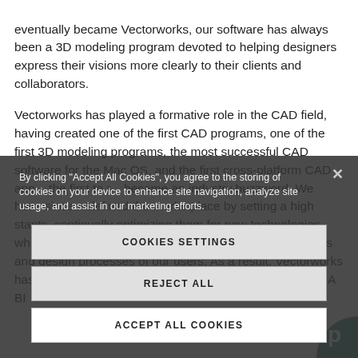eventually became Vectorworks, our software has always been a 3D modeling program devoted to helping designers express their visions more clearly to their clients and collaborators.
Vectorworks has played a formative role in the CAD field, having created one of the first CAD programs, one of the first 3D modeling programs, the most successful CAD software for the Mac OS, and the first cross-platform CAD app... the first to r... became an industry buzzword. We have since redefined the marketplace by setting a high stand... ts, continually optimizing them for new technologies while delivering solutions that support the many workflows and design processes of our users. As a result, Vectorworks has become an internationally respected leader in both CA... BI...
By clicking "Accept All Cookies", you agree to the storing of cookies on your device to enhance site navigation, analyze site usage, and assist in our marketing efforts.
COOKIES SETTINGS
REJECT ALL
ACCEPT ALL COOKIES